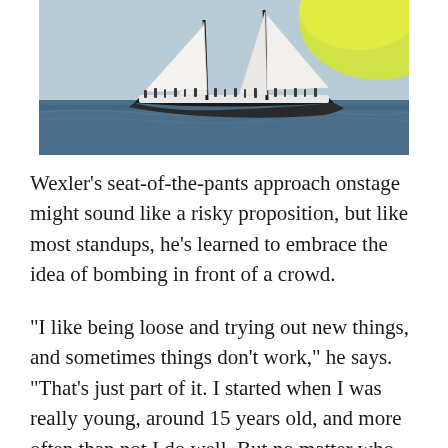[Figure (photo): A sailing schooner with white sails filled with wind, crowded with passengers on deck, sailing on open water. A bright yellow-green sail or spinnaker is visible in the upper right.]
Wexler's seat-of-the-pants approach onstage might sound like a risky proposition, but like most standups, he's learned to embrace the idea of bombing in front of a crowd.
“I like being loose and trying out new things, and sometimes things don’t work,” he says. “That’s just part of it. I started when I was really young, around 15 years old, and more often than not I do well. But no matter who you are, you have bad shows, and it’s just something you accept. I don’t blame the audience; I’ll record my sets and go back and find